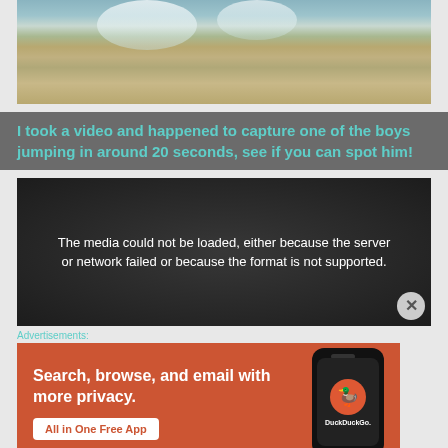[Figure (photo): Waterfall flowing into a rocky pool, with brown/tan rock formations and reflected water]
I took a video and happened to capture one of the boys jumping in around 20 seconds, see if you can spot him!
[Figure (screenshot): Video player showing error message: The media could not be loaded, either because the server or network failed or because the format is not supported.]
Advertisements:
[Figure (photo): DuckDuckGo advertisement: Search, browse, and email with more privacy. All in One Free App. Shows a smartphone with DuckDuckGo logo.]